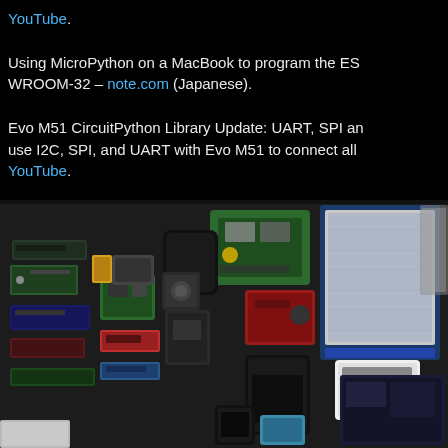YouTube.

Using MicroPython on a MacBook to program the ES WROOM-32 – note.com (Japanese).

Evo M51 CircuitPython Library Update: UART, SPI and use I2C, SPI, and UART with Evo M51 to connect all YouTube.
[Figure (photo): Overhead photo of a dark surface covered with various microcontroller boards, development kits, displays, and electronic components including Raspberry Pi boards, Arduino-style boards, LCD screens, and other embedded hardware modules.]